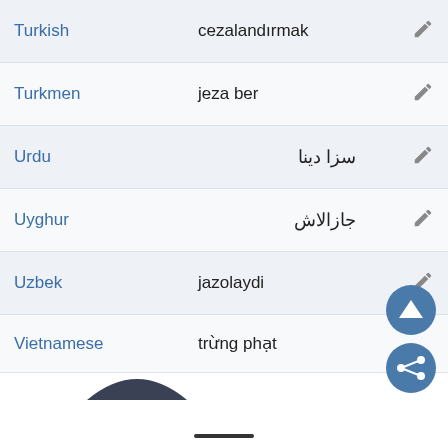| Language | Translation | Edit |
| --- | --- | --- |
| Turkish | cezalandırmak |  |
| Turkmen | jeza ber |  |
| Urdu | سزا دینا |  |
| Uyghur | جازالاش |  |
| Uzbek | jazolaydi |  |
| Vietnamese | trừng phạt |  |
[Figure (screenshot): Two circular action buttons (scroll-up and share) overlaid on the bottom-right of the table, and a dark arc/hat icon near the bottom of the page, with a navigation bar indicator at the very bottom.]